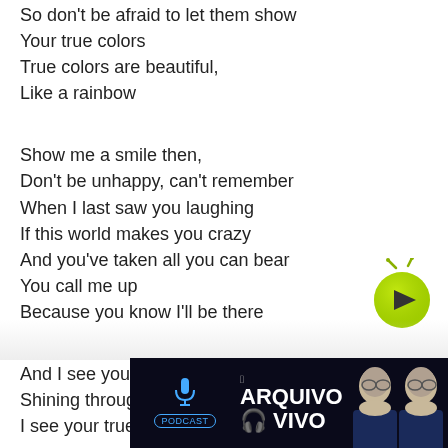So don't be afraid to let them show
Your true colors
True colors are beautiful,
Like a rainbow
Show me a smile then,
Don't be unhappy, can't remember
When I last saw you laughing
If this world makes you crazy
And you've taken all you can bear
You call me up
Because you know I'll be there
And I see your true colors
Shining through
I see your true colors
And th...
So don...
Your true colors
[Figure (other): Green circular play button with dark play triangle icon and antenna/bug antennae on top]
[Figure (other): Advertisement banner for 'Arquivo Vivo' podcast showing two men in suits on dark background with podcast label]